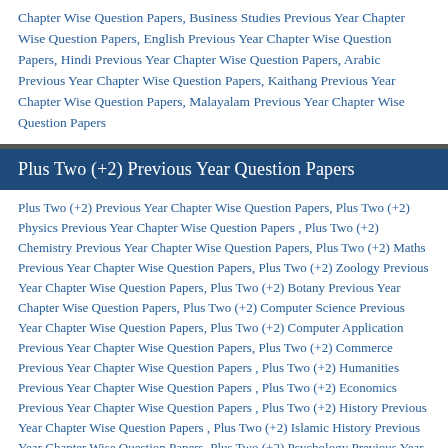Chapter Wise Question Papers, Business Studies Previous Year Chapter Wise Question Papers, English Previous Year Chapter Wise Question Papers, Hindi Previous Year Chapter Wise Question Papers, Arabic Previous Year Chapter Wise Question Papers, Kaithang Previous Year Chapter Wise Question Papers, Malayalam Previous Year Chapter Wise Question Papers
Plus Two (+2) Previous Year Question Papers
Plus Two (+2) Previous Year Chapter Wise Question Papers, Plus Two (+2) Physics Previous Year Chapter Wise Question Papers , Plus Two (+2) Chemistry Previous Year Chapter Wise Question Papers, Plus Two (+2) Maths Previous Year Chapter Wise Question Papers, Plus Two (+2) Zoology Previous Year Chapter Wise Question Papers, Plus Two (+2) Botany Previous Year Chapter Wise Question Papers, Plus Two (+2) Computer Science Previous Year Chapter Wise Question Papers, Plus Two (+2) Computer Application Previous Year Chapter Wise Question Papers, Plus Two (+2) Commerce Previous Year Chapter Wise Question Papers , Plus Two (+2) Humanities Previous Year Chapter Wise Question Papers , Plus Two (+2) Economics Previous Year Chapter Wise Question Papers , Plus Two (+2) History Previous Year Chapter Wise Question Papers , Plus Two (+2) Islamic History Previous Year Chapter Wise Question Papers, Plus Two (+2) Psychology Previous Year Chapter Wise Question Papers , Plus Two (+2) Social